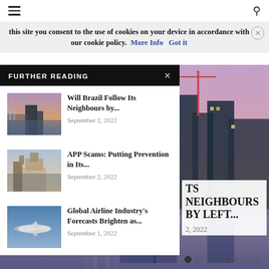≡  🔍
this site you consent to the use of cookies on your device in accordance with our cookie policy.  More Info   Got it
FURTHER READING
[Figure (photo): Thumbnail of São Paulo city bridge over river at dusk]
Will Brazil Follow Its Neighbours by...
September 2, 2022
[Figure (photo): Thumbnail of Big Ben and Houses of Parliament, London]
APP Scams: Putting Prevention in Its...
September 2, 2022
[Figure (photo): Thumbnail of a commercial airplane flying in blue sky]
Global Airline Industry's Forecasts Brighten as...
September 1, 2022
[Figure (photo): Background photo of city waterfront skyline at dusk with purple sky]
TS NEIGHBOURS BY LEFT...
2, 2022